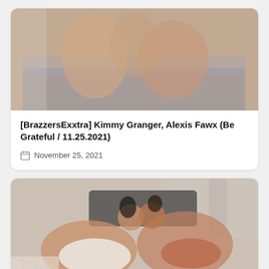[Figure (photo): Photograph of people on a bed, cropped at top]
[BrazzersExxtra] Kimmy Granger, Alexis Fawx (Be Grateful / 11.25.2021)
November 25, 2021
[Figure (photo): Photograph of two women kissing on a bed, wearing lingerie]